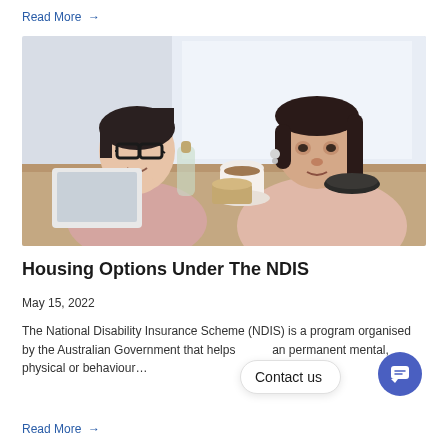Read More →
[Figure (photo): Two women sitting at a café table with a laptop, coffee cup, and food items. One woman has short dark hair and large glasses, smiling; the other has long dark hair in a ponytail and appears to have Down syndrome, looking at the table.]
Housing Options Under The NDIS
May 15, 2022
The National Disability Insurance Scheme (NDIS) is a program organised by the Australian Government that helps          an permanent mental, physical or behaviour...
Read More →